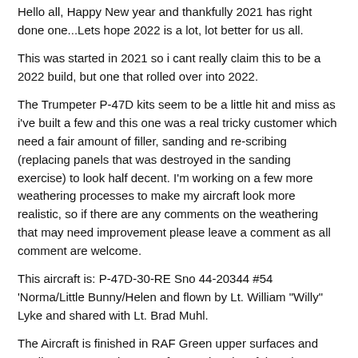Hello all, Happy New year and thankfully 2021 has right done one...Lets hope 2022 is a lot, lot better for us all.
This was started in 2021 so i cant really claim this to be a 2022 build, but one that rolled over into 2022.
The Trumpeter P-47D kits seem to be a little hit and miss as i've built a few and this one was a real tricky customer which need a fair amount of filler, sanding and re-scribing (replacing panels that was destroyed in the sanding exercise) to look half decent. I'm working on a few more weathering processes to make my aircraft look more realistic, so if there are any comments on the weathering that may need improvement please leave a comment as all comment are welcome.
This aircraft is: P-47D-30-RE Sno 44-20344 #54 'Norma/Little Bunny/Helen and flown by Lt. William "Willy" Lyke and shared with Lt. Brad Muhl.
The Aircraft is finished in RAF Green upper surfaces and Medium Sea Grey lower surfaces. The aircraft has the Leading edge of the nose cowl finished in red while the tail and wings have yellow